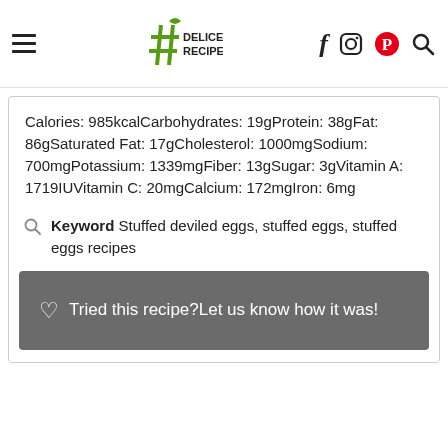Delice Recipes
Calories: 985kcalCarbohydrates: 19gProtein: 38gFat: 86gSaturated Fat: 17gCholesterol: 1000mgSodium: 700mgPotassium: 1339mgFiber: 13gSugar: 3gVitamin A: 1719IUVitamin C: 20mgCalcium: 172mgIron: 6mg
Keyword Stuffed deviled eggs, stuffed eggs, stuffed eggs recipes
♡ Tried this recipe?Let us know how it was!